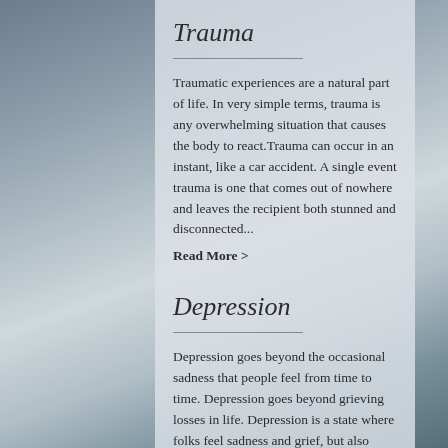Trauma
Traumatic experiences are a natural part of life. In very simple terms, trauma is any overwhelming situation that causes the body to react.Trauma can occur in an instant, like a car accident. A single event trauma is one that comes out of nowhere and leaves the recipient both stunned and disconnected...
Read More >
Depression
Depression goes beyond the occasional sadness that people feel from time to time. Depression goes beyond grieving losses in life. Depression is a state where folks feel sadness and grief, but also experience hopelessness and helplessness in the midst of the sadness and/or grief.
Read More >